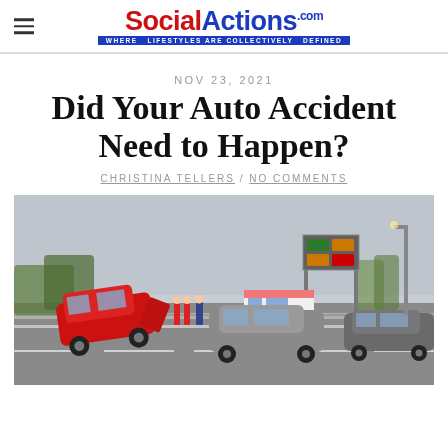SocialActions.com — WHERE LIFESTYLES ARE COLLECTIVELY DEFINED
NOV 23, 2021
Did Your Auto Accident Need to Happen?
CHRISTINA TELLERS / NO COMMENTS
[Figure (photo): A red car overturned on a highway with emergency responders nearby, a grey compact car and black car visible, highway signs in background, overcast sky.]